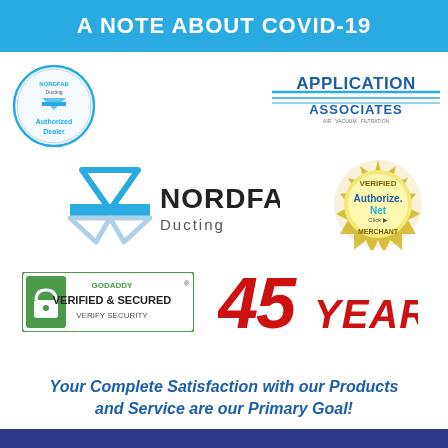A NOTE ABOUT COVID-19
[Figure (logo): Nordfab Authorized Dealer circular badge]
[Figure (logo): Application Associates Air Vacuum Filtration logo]
[Figure (logo): Nordfab Ducting logo with blue chevron/arrow design]
[Figure (logo): Authorize.Net Verified Merchant gold seal]
[Figure (logo): GoDaddy Verified and Secured badge]
[Figure (infographic): 45 YEARS in large red bold text]
Your Complete Satisfaction with our Products and Service are our Primary Goal!